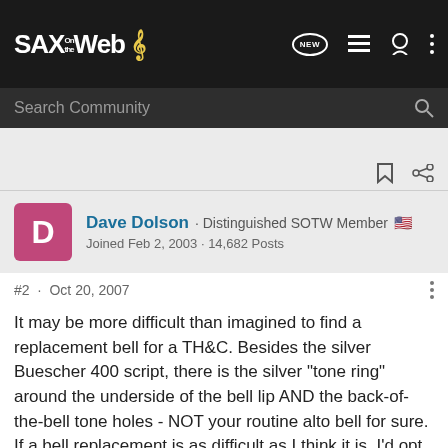[Figure (screenshot): SAX on the Web forum header logo with navigation icons]
[Figure (screenshot): Search Community search bar]
Dave Dolson · Distinguished SOTW Member 🇺🇸
Joined Feb 2, 2003 · 14,682 Posts
#2 · Oct 20, 2007
It may be more difficult than imagined to find a replacement bell for a TH&C. Besides the silver Buescher 400 script, there is the silver "tone ring" around the underside of the bell lip AND the back-of-the-bell tone holes - NOT your routine alto bell for sure. If a bell replacement is as difficult as I think it is, I'd opt for repairing it, not replacing it.